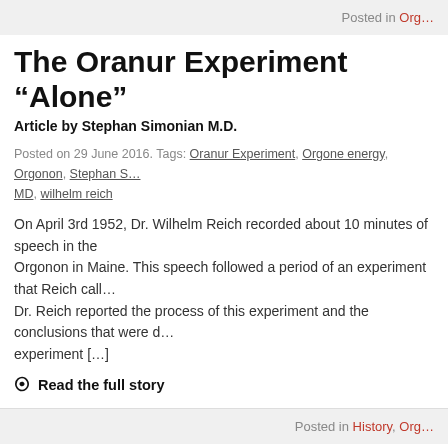Posted in Org…
The Oranur Experiment “Alone”
Article by Stephan Simonian M.D.
Posted on 29 June 2016. Tags: Oranur Experiment, Orgone energy, Orgonon, Stephan S… MD, wilhelm reich
On April 3rd 1952, Dr. Wilhelm Reich recorded about 10 minutes of speech in the… Orgonon in Maine. This speech followed a period of an experiment that Reich call… Dr. Reich reported the process of this experiment and the conclusions that were d… experiment […]
❍ Read the full story
Posted in History, Org…
Branches of Orgonomy and a Question to our Readers
Article by Stephan Simonian M.D.
Posted on 26 February 2016. Tags: Branches of Orgonomy, M.D., Orgonomy Conference… and Theory of Psychoanalysis, Stephan Simonian, wilhelm reich